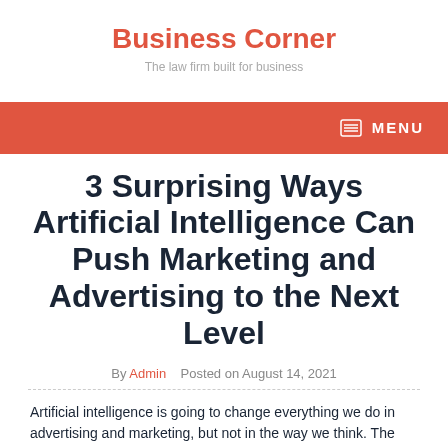Business Corner
The law firm built for business
[Figure (other): Red navigation bar with hamburger menu icon and MENU text in white]
3 Surprising Ways Artificial Intelligence Can Push Marketing and Advertising to the Next Level
By Admin   Posted on August 14, 2021
Artificial intelligence is going to change everything we do in advertising and marketing, but not in the way we think. The truth is that if used correctly, RPA software and intelligent machine learning can give